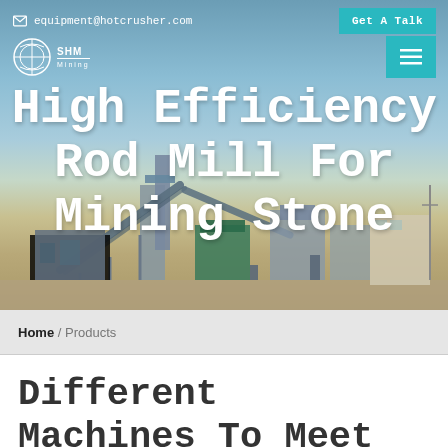equipment@hotcrusher.com
[Figure (screenshot): Hero banner showing industrial mining/crushing equipment facility with conveyors against a clear sky background]
High Efficiency Rod Mill For Mining Stone
Get A Talk
Home / Products
Different Machines To Meet All Need